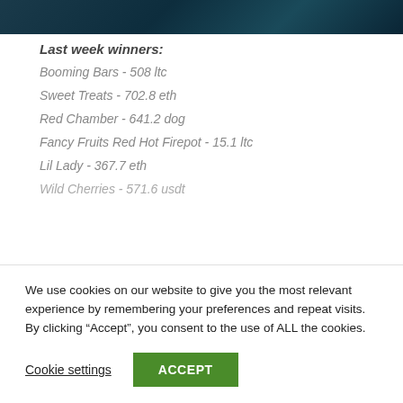[Figure (other): Dark teal/navy decorative banner image at the top of the page]
Last week winners:
Booming Bars - 508 ltc
Sweet Treats - 702.8 eth
Red Chamber - 641.2 dog
Fancy Fruits Red Hot Firepot - 15.1 ltc
Lil Lady - 367.7 eth
Wild Cherries - 571.6 usdt
We use cookies on our website to give you the most relevant experience by remembering your preferences and repeat visits. By clicking “Accept”, you consent to the use of ALL the cookies.
Cookie settings
ACCEPT